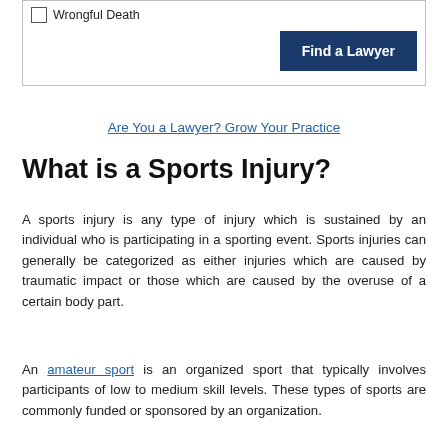☐ Wrongful Death
Find a Lawyer
Are You a Lawyer? Grow Your Practice
What is a Sports Injury?
A sports injury is any type of injury which is sustained by an individual who is participating in a sporting event. Sports injuries can generally be categorized as either injuries which are caused by traumatic impact or those which are caused by the overuse of a certain body part.
An amateur sport is an organized sport that typically involves participants of low to medium skill levels. These types of sports are commonly funded or sponsored by an organization.